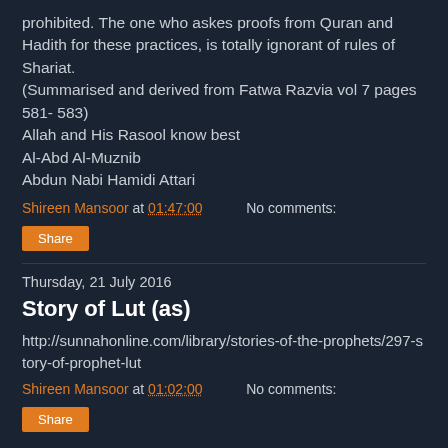prohibited. The one who askes proofs from Quran and Hadith for these practices, is totally ignorant of rules of Shariat.
(Summarised and derived from Fatwa Razvia vol 7 pages 581- 583)
Allah and His Rasool know best
Al-Abd Al-Muznib
Abdun Nabi Hamidi Attari
Shireen Mansoor at 01:47:00   No comments:
Share
Thursday, 21 July 2016
Story of Lut (as)
http://sunnahonline.com/library/stories-of-the-prophets/297-story-of-prophet-lut
Shireen Mansoor at 01:02:00   No comments:
Share